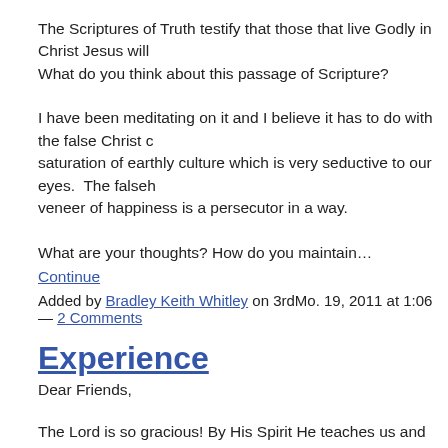The Scriptures of Truth testify that those that live Godly in Christ Jesus will… What do you think about this passage of Scripture?
I have been meditating on it and I believe it has to do with the false Christ o… saturation of earthly culture which is very seductive to our eyes.  The falseh… veneer of happiness is a persecutor in a way.
What are your thoughts? How do you maintain…
Continue
Added by Bradley Keith Whitley on 3rdMo. 19, 2011 at 1:06 — 2 Comments
Experience
Dear Friends,
The Lord is so gracious! By His Spirit He teaches us and leads us into the W… deserves all our praise for the Love of the Word in coming to us and teachi…
Last evening, after reading the Scriptures, I had a moment of silent worship… Lord. During this time I saw in my mind a donkey with a man on it, and ther… changed to a white horse with a warrior on it. I take it to be Christ. Christ ca…
Continue